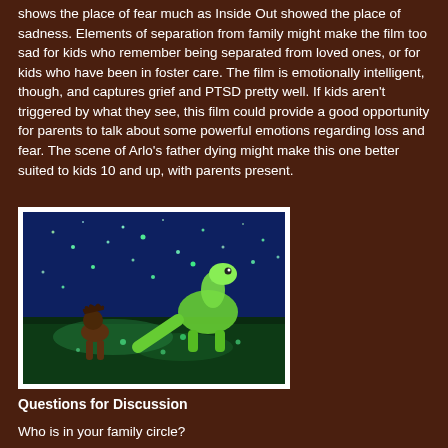shows the place of fear much as Inside Out showed the place of sadness. Elements of separation from family might make the film too sad for kids who remember being separated from loved ones, or for kids who have been in foster care. The film is emotionally intelligent, though, and captures grief and PTSD pretty well. If kids aren't triggered by what they see, this film could provide a good opportunity for parents to talk about some powerful emotions regarding loss and fear. The scene of Arlo's father dying might make this one better suited to kids 10 and up, with parents present.
[Figure (photo): Scene from The Good Dinosaur showing a young human boy and a large green dinosaur (Arlo) standing together on grass at night with glowing green lights/fireflies in a dark blue sky]
Questions for Discussion
Who is in your family circle?